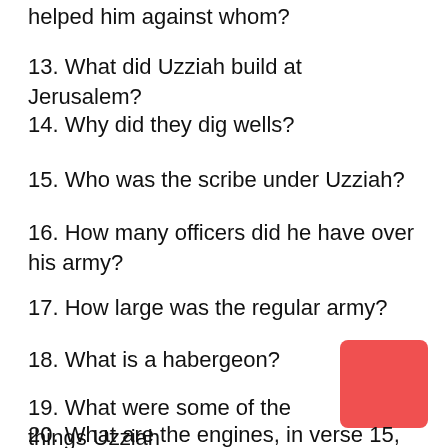helped him against whom?
13. What did Uzziah build at Jerusalem?
14. Why did they dig wells?
15. Who was the scribe under Uzziah?
16. How many officers did he have over his army?
17. How large was the regular army?
18. What is a habergeon?
19. What were some of the things Uzziah prepared for his army?
20. What are the engines, in verse 15, speaking